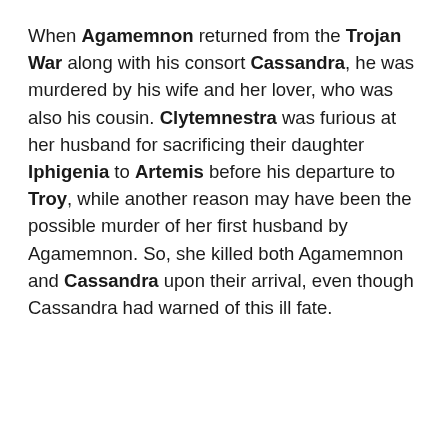When Agamemnon returned from the Trojan War along with his consort Cassandra, he was murdered by his wife and her lover, who was also his cousin. Clytemnestra was furious at her husband for sacrificing their daughter Iphigenia to Artemis before his departure to Troy, while another reason may have been the possible murder of her first husband by Agamemnon. So, she killed both Agamemnon and Cassandra upon their arrival, even though Cassandra had warned of this ill fate.